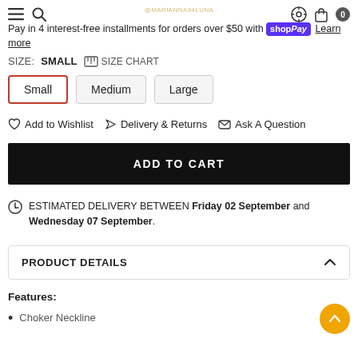Pay in 4 interest-free installments for orders over $50 with shop Pay Learn more
SIZE: SMALL  SIZE CHART
Small  Medium  Large
Add to Wishlist  Delivery & Returns  Ask A Question
ADD TO CART
ESTIMATED DELIVERY BETWEEN Friday 02 September and Wednesday 07 September.
PRODUCT DETAILS
Features:
Choker Neckline